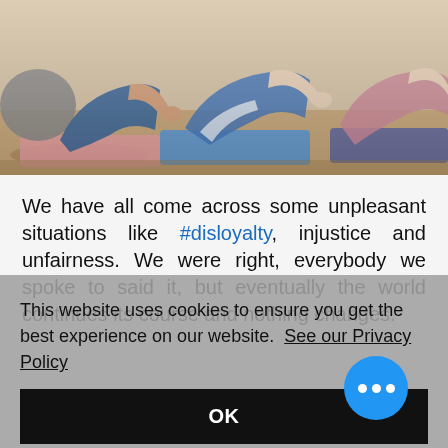[Figure (photo): Women doing yoga/pilates poses on mats in a studio, viewed from behind/side angle. Multiple participants on pink and blue mats on a wooden floor.]
We have all come across some unpleasant situations like #disloyalty, injustice and unfairness. We were right, everybody we spoke to said it, but eventually the world continues its course and nothing changes.
This website uses cookies to ensure you get the best experience on our website. See our Privacy Policy
OK
experience that follows, which we